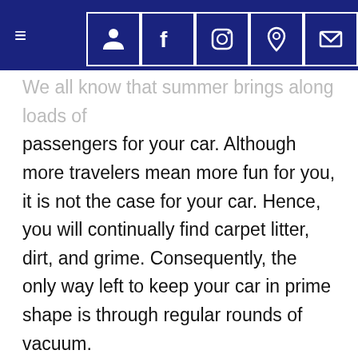≡ [navigation icons: user, facebook, instagram, location, email]
We all know that summer brings along loads of passengers for your car. Although more travelers mean more fun for you, it is not the case for your car. Hence, you will continually find carpet litter, dirt, and grime. Consequently, the only way left to keep your car in prime shape is through regular rounds of vacuum.
Moreover, you know what else summertime means? Trips to the beach or swimming pools. Inevitably, wet swimsuits lying in the backseat are an open invite for crafty bacteria and mold to dwell. Eventually, it will accumulate into that putrid moldy smell. However, a few steps can prevent that from happening, such as: